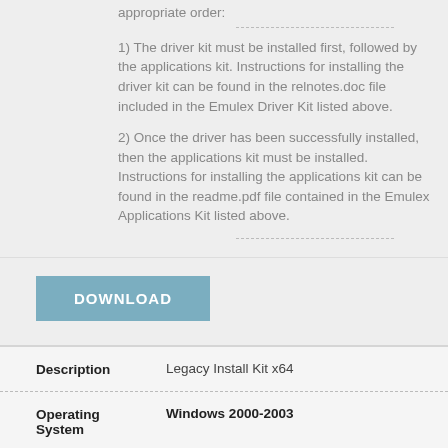appropriate order:
1) The driver kit must be installed first, followed by the applications kit. Instructions for installing the driver kit can be found in the relnotes.doc file included in the Emulex Driver Kit listed above.
2) Once the driver has been successfully installed, then the applications kit must be installed. Instructions for installing the applications kit can be found in the readme.pdf file contained in the Emulex Applications Kit listed above.
DOWNLOAD
| Description |  |
| --- | --- |
| Description | Legacy Install Kit x64 |
| Operating System | Windows 2000-2003 |